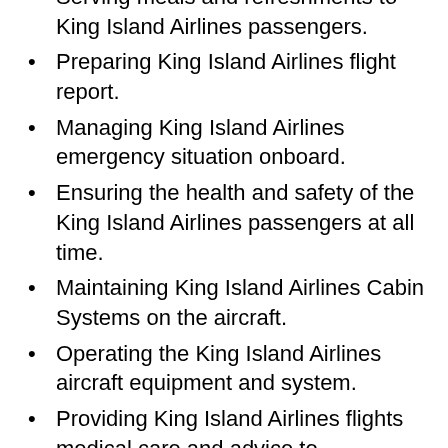Serving meals and refreshments to King Island Airlines passengers.
Preparing King Island Airlines flight report.
Managing King Island Airlines emergency situation onboard.
Ensuring the health and safety of the King Island Airlines passengers at all time.
Maintaining King Island Airlines Cabin Systems on the aircraft.
Operating the King Island Airlines aircraft equipment and system.
Providing King Island Airlines flights medical care and advice to passengers.
Providing the relevant information to the King Island Airlines passengers.